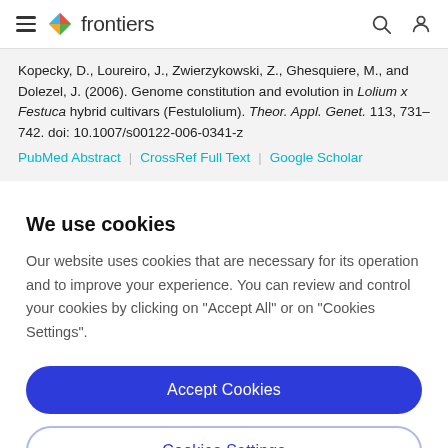frontiers (navigation bar with logo, search, and user icons)
Kopecky, D., Loureiro, J., Zwierzykowski, Z., Ghesquiere, M., and Dolezel, J. (2006). Genome constitution and evolution in Lolium x Festuca hybrid cultivars (Festulolium). Theor. Appl. Genet. 113, 731–742. doi: 10.1007/s00122-006-0341-z
PubMed Abstract | CrossRef Full Text | Google Scholar
We use cookies
Our website uses cookies that are necessary for its operation and to improve your experience. You can review and control your cookies by clicking on "Accept All" or on "Cookies Settings".
Accept Cookies
Cookies Settings